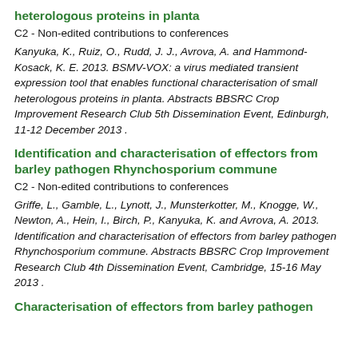heterologous proteins in planta
C2 - Non-edited contributions to conferences
Kanyuka, K., Ruiz, O., Rudd, J. J., Avrova, A. and Hammond-Kosack, K. E. 2013. BSMV-VOX: a virus mediated transient expression tool that enables functional characterisation of small heterologous proteins in planta. Abstracts BBSRC Crop Improvement Research Club 5th Dissemination Event, Edinburgh, 11-12 December 2013 .
Identification and characterisation of effectors from barley pathogen Rhynchosporium commune
C2 - Non-edited contributions to conferences
Griffe, L., Gamble, L., Lynott, J., Munsterkotter, M., Knogge, W., Newton, A., Hein, I., Birch, P., Kanyuka, K. and Avrova, A. 2013. Identification and characterisation of effectors from barley pathogen Rhynchosporium commune. Abstracts BBSRC Crop Improvement Research Club 4th Dissemination Event, Cambridge, 15-16 May 2013 .
Characterisation of effectors from barley pathogen